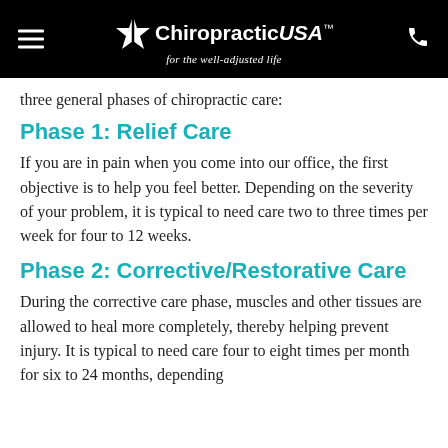ChiropracticUSA™ — for the well-adjusted life
three general phases of chiropractic care:
Phase 1: Relief Care
If you are in pain when you come into our office, the first objective is to help you feel better. Depending on the severity of your problem, it is typical to need care two to three times per week for four to 12 weeks.
Phase 2: Corrective/Restorative Care
During the corrective care phase, muscles and other tissues are allowed to heal more completely, thereby helping prevent injury. It is typical to need care four to eight times per month for six to 24 months, depending